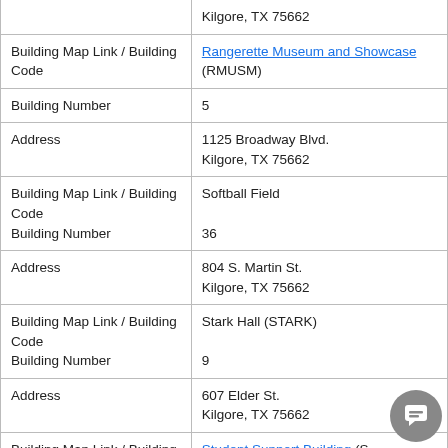| Field | Value |
| --- | --- |
|  | Kilgore, TX 75662 |
| Building Map Link / Building Code | Rangerette Museum and Showcase (RMUSM) |
| Building Number | 5 |
| Address | 1125 Broadway Blvd.
Kilgore, TX 75662 |
| Building Map Link / Building Code | Softball Field |
| Building Number | 36 |
| Address | 804 S. Martin St.
Kilgore, TX 75662 |
| Building Map Link / Building Code | Stark Hall (STARK) |
| Building Number | 9 |
| Address | 607 Elder St.
Kilgore, TX 75662 |
| Building Map Link / Building Code | Student Support Building (S... |
| Building Number | 17 |